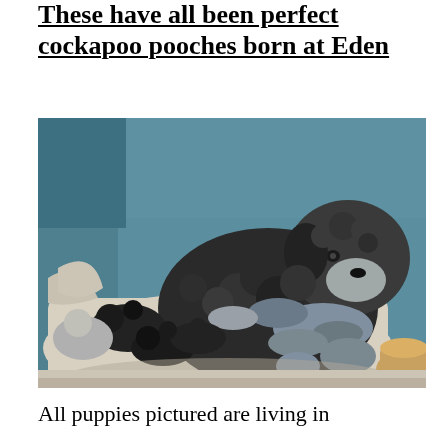These have all been perfect cockapoo pooches born at Eden
[Figure (photo): A mother cockapoo dog with curly black and white fur lying on a white blanket with several newborn puppies nursing beside her. A wooden bowl is visible in the bottom right corner. The background is a teal/blue wall.]
All puppies pictured are living in